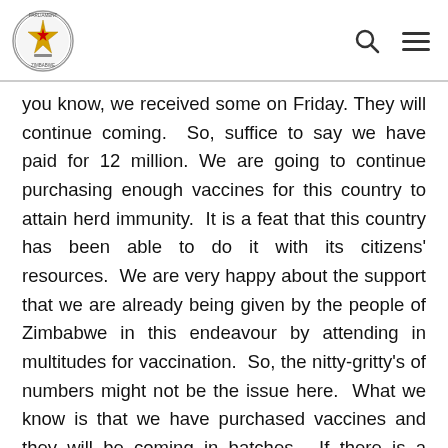Parliament of Zimbabwe logo with search and menu icons
you know, we received some on Friday. They will continue coming.  So, suffice to say we have paid for 12 million. We are going to continue purchasing enough vaccines for this country to attain herd immunity.  It is a feat that this country has been able to do it with its citizens' resources.  We are very happy about the support that we are already being given by the people of Zimbabwe in this endeavour by attending in multitudes for vaccination.  So, the nitty-gritty's of numbers might not be the issue here.  What we know is that we have purchased vaccines and they will be coming in batches.  If there is a mismatch in numbers that are being reported, let it be very clear now we have 12 million and they are coming in batches thank you.